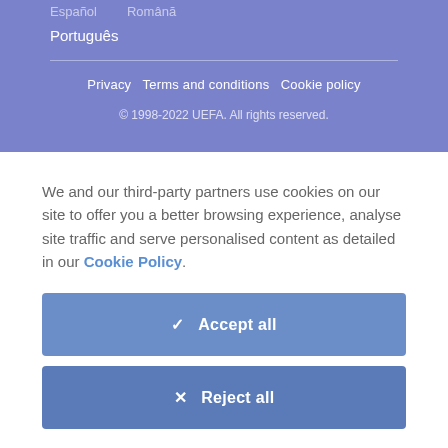Português
Privacy  Terms and conditions  Cookie policy
© 1998-2022 UEFA. All rights reserved.
We and our third-party partners use cookies on our site to offer you a better browsing experience, analyse site traffic and serve personalised content as detailed in our Cookie Policy.
✓  Accept all
✕  Reject all
Cookie settings  >